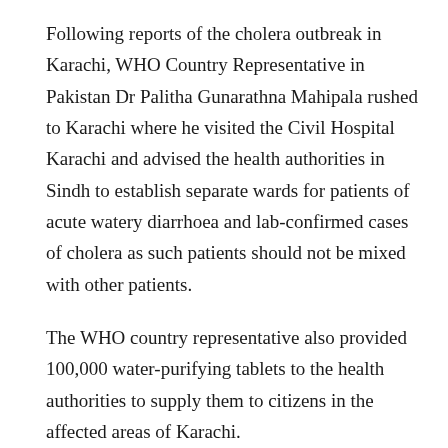Following reports of the cholera outbreak in Karachi, WHO Country Representative in Pakistan Dr Palitha Gunarathna Mahipala rushed to Karachi where he visited the Civil Hospital Karachi and advised the health authorities in Sindh to establish separate wards for patients of acute watery diarrhoea and lab-confirmed cases of cholera as such patients should not be mixed with other patients.
The WHO country representative also provided 100,000 water-purifying tablets to the health authorities to supply them to citizens in the affected areas of Karachi.
He also assured that 100,000 more chlorine tablets would be supplied by the WHO in the days to come.
Each water purifying tablet can purify 5 litres of water, officials said. Dr Mahipala also called on Dr Jumman and asked him to